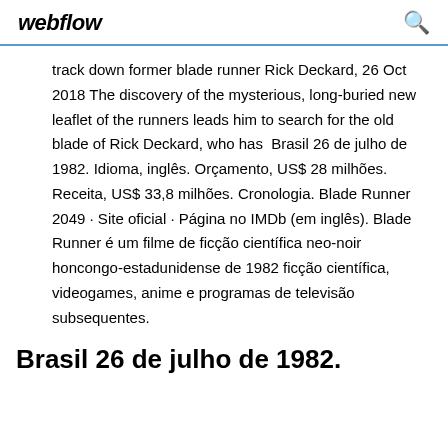webflow
track down former blade runner Rick Deckard, 26 Oct 2018 The discovery of the mysterious, long-buried new leaflet of the runners leads him to search for the old blade of Rick Deckard, who has  Brasil 26 de julho de 1982. Idioma, inglês. Orçamento, US$ 28 milhões. Receita, US$ 33,8 milhões. Cronologia. Blade Runner 2049 · Site oficial · Página no IMDb (em inglês). Blade Runner é um filme de ficção científica neo-noir honcongo-estadunidense de 1982 ficção científica, videogames, anime e programas de televisão subsequentes.
Brasil 26 de julho de 1982.